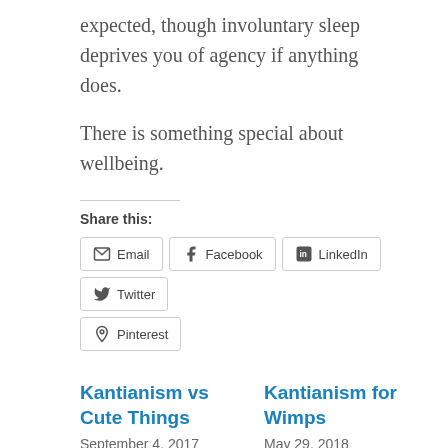expected, though involuntary sleep deprives you of agency if anything does.
There is something special about wellbeing.
Share this:
Email
Facebook
LinkedIn
Twitter
Pinterest
Kantianism vs Cute Things
September 4, 2017
In "Moral Psychology"
Kantianism for Wimps
May 29, 2018
In "Normative Ethics"
Motivation Without